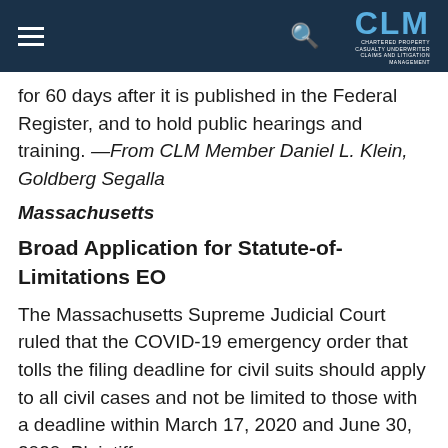CLM
for 60 days after it is published in the Federal Register, and to hold public hearings and training. —From CLM Member Daniel L. Klein, Goldberg Segalla
Massachusetts
Broad Application for Statute-of-Limitations EO
The Massachusetts Supreme Judicial Court ruled that the COVID-19 emergency order that tolls the filing deadline for civil suits should apply to all civil cases and not be limited to those with a deadline within March 17, 2020 and June 30, 2020. Plaintiff